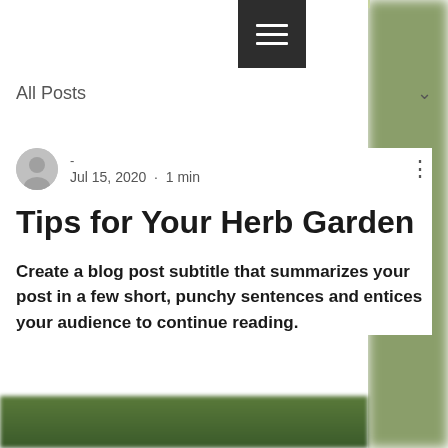All Posts
- · Jul 15, 2020 · 1 min
Tips for Your Herb Garden
Create a blog post subtitle that summarizes your post in a few short, punchy sentences and entices your audience to continue reading.